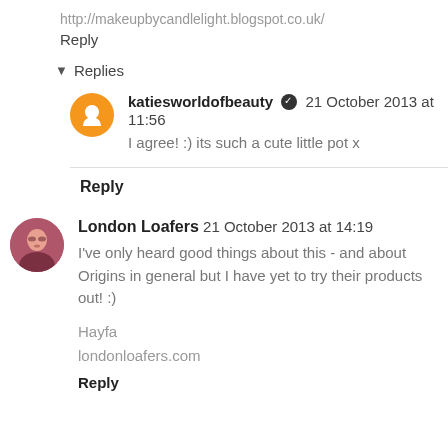http://makeupbycandlelight.blogspot.co.uk/
Reply
Replies
katiesworldofbeauty  21 October 2013 at 11:56
I agree! :) its such a cute little pot x
Reply
London Loafers 21 October 2013 at 14:19
I've only heard good things about this - and about Origins in general but I have yet to try their products out! :)
Hayfa
londonloafers.com
Reply